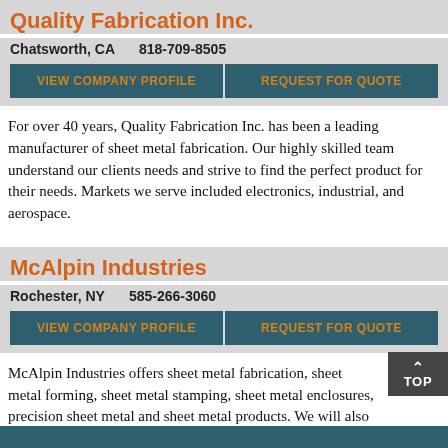Quality Fabrication Inc.
Chatsworth, CA    818-709-8505
VIEW COMPANY PROFILE | REQUEST FOR QUOTE
For over 40 years, Quality Fabrication Inc. has been a leading manufacturer of sheet metal fabrication. Our highly skilled team understand our clients needs and strive to find the perfect product for their needs. Markets we serve included electronics, industrial, and aerospace.
McAlpin Industries
Rochester, NY    585-266-3060
VIEW COMPANY PROFILE | REQUEST FOR QUOTE
McAlpin Industries offers sheet metal fabrication, sheet metal forming, sheet metal stamping, sheet metal enclosures, precision sheet metal and sheet metal products. We will also provide you with complete design assistance if needed. Contact us for your complete sheet metal fabricating need